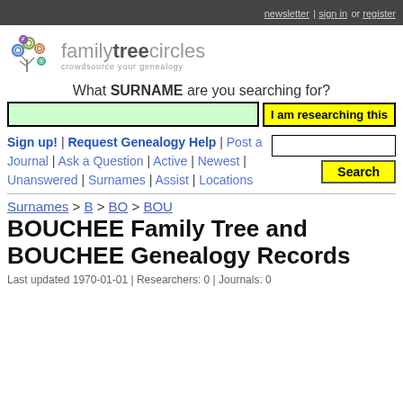newsletter | sign in or register
[Figure (logo): Family Tree Circles logo with colorful tree and circles illustration and tagline 'crowdsource your genealogy']
What SURNAME are you searching for?
I am researching this
Sign up! | Request Genealogy Help | Post a Journal | Ask a Question | Active | Newest | Unanswered | Surnames | Assist | Locations
Search
Surnames > B > BO > BOU
BOUCHEE Family Tree and BOUCHEE Genealogy Records
Last updated 1970-01-01 | Researchers: 0 | Journals: 0